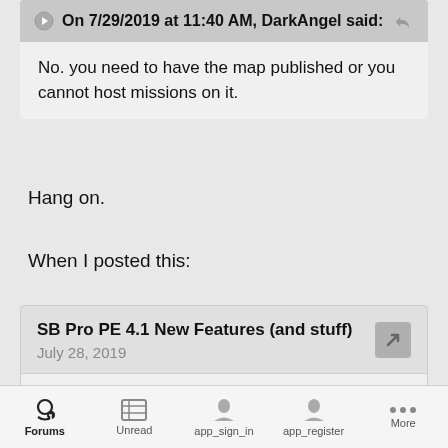On 7/29/2019 at 11:40 AM, DarkAngel said:
No. you need to have the map published or you cannot host missions on it.
Hang on.
When I posted this:
SB Pro PE 4.1 New Features (and stuff)
July 28, 2019
Forums  Unread  app_sign_in  app_register  More